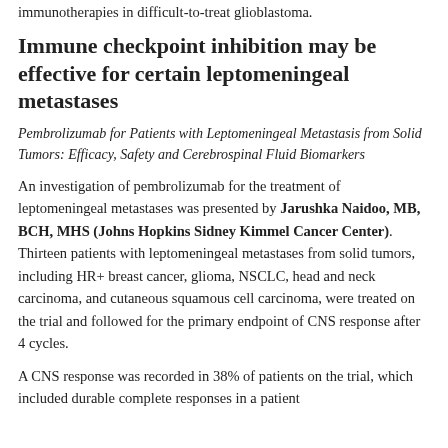immunotherapies in difficult-to-treat glioblastoma.
Immune checkpoint inhibition may be effective for certain leptomeningeal metastases
Pembrolizumab for Patients with Leptomeningeal Metastasis from Solid Tumors: Efficacy, Safety and Cerebrospinal Fluid Biomarkers
An investigation of pembrolizumab for the treatment of leptomeningeal metastases was presented by Jarushka Naidoo, MB, BCH, MHS (Johns Hopkins Sidney Kimmel Cancer Center). Thirteen patients with leptomeningeal metastases from solid tumors, including HR+ breast cancer, glioma, NSCLC, head and neck carcinoma, and cutaneous squamous cell carcinoma, were treated on the trial and followed for the primary endpoint of CNS response after 4 cycles.
A CNS response was recorded in 38% of patients on the trial, which included durable complete responses in a patient